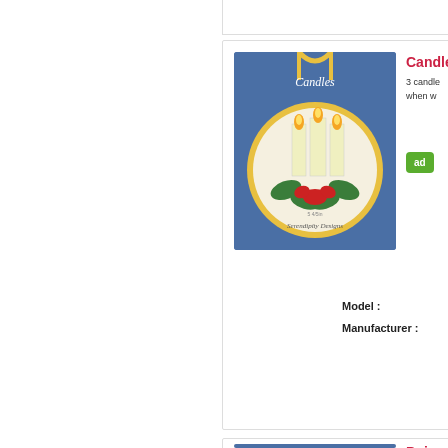[Figure (photo): Candles cross-stitch ornament on blue background — circular ornament with three candles surrounded by green holly and red bow, hanging from yellow cord. Text reads 'Candles' and 'Serendipity Designs'.]
Candle
3 candles when w
ad
Model :
Manufacturer :
[Figure (photo): Poinsettia cross-stitch ornament on blue background — circular ornament with poinsettia design, hanging from red cord. Text reads 'Poinsettia'.]
Poinse
THE tra